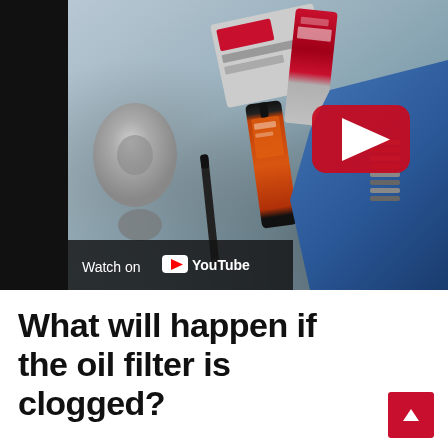[Figure (screenshot): YouTube video thumbnail showing a workshop workbench with various tools and supplies including an orange tube (RTV sealant), paper towel roll, marker, packages, and a blue-gloved hand holding a spring or metal object. A YouTube play button overlay is visible. A 'Watch on YouTube' bar appears at the bottom of the video.]
What will happen if the oil filter is clogged?